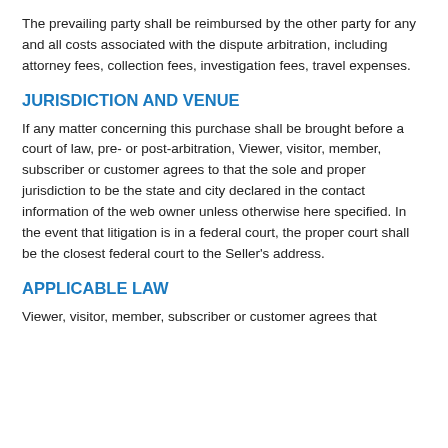The prevailing party shall be reimbursed by the other party for any and all costs associated with the dispute arbitration, including attorney fees, collection fees, investigation fees, travel expenses.
JURISDICTION AND VENUE
If any matter concerning this purchase shall be brought before a court of law, pre- or post-arbitration, Viewer, visitor, member, subscriber or customer agrees to that the sole and proper jurisdiction to be the state and city declared in the contact information of the web owner unless otherwise here specified. In the event that litigation is in a federal court, the proper court shall be the closest federal court to the Seller's address.
APPLICABLE LAW
Viewer, visitor, member, subscriber or customer agrees that